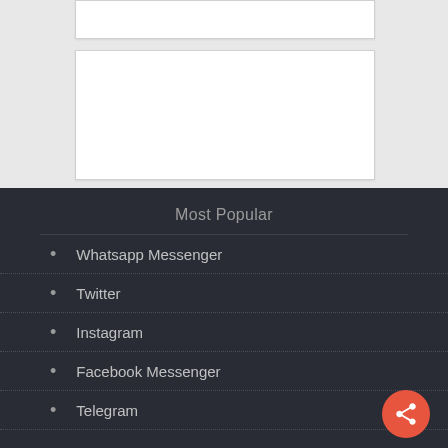[Figure (screenshot): Two white placeholder content cards on a light grey background]
Most Popular
Whatsapp Messenger
Twitter
Instagram
Facebook Messenger
Telegram